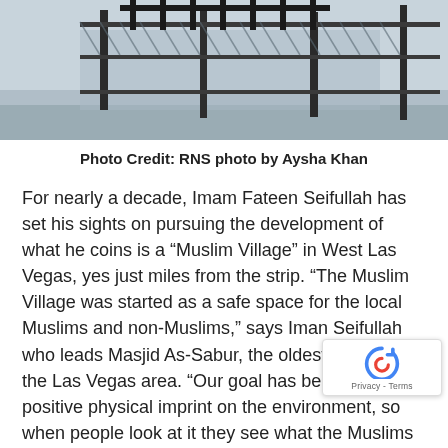[Figure (photo): Photograph of a fence and outdoor area, partially cropped at the top of the page]
Photo Credit: RNS photo by Aysha Khan
For nearly a decade, Imam Fateen Seifullah has set his sights on pursuing the development of what he coins is a “Muslim Village” in West Las Vegas, yes just miles from the strip. “The Muslim Village was started as a safe space for the local Muslims and non-Muslims,” says Iman Seifullah who leads Masjid As-Sabur, the oldest mosque in the Las Vegas area. “Our goal has been to leave a positive physical imprint on the environment, so when people look at it they see what the Muslims have done here.”
Indeed the congregation has been successful in